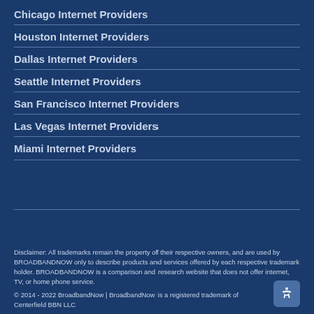Chicago Internet Providers
Houston Internet Providers
Dallas Internet Providers
Seattle Internet Providers
San Francisco Internet Providers
Las Vegas Internet Providers
Miami Internet Providers
Disclaimer: All trademarks remain the property of their respective owners, and are used by BROADBANDNOW only to describe products and services offered by each respective trademark holder. BROADBANDNOW is a comparison and research website that does not offer internet, TV, or home phone service.
© 2014 - 2022 BroadbandNow | BroadbandNow is a registered trademark of Centerfield BBN LLC